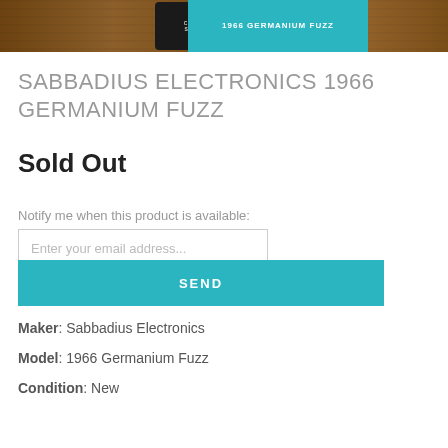[Figure (photo): Product image showing a guitar pedal or electronics product against a wooden background with teal strip and dark logo badge]
SABBADIUS ELECTRONICS 1966 GERMANIUM FUZZ
Sold Out
Notify me when this product is available:
Enter your email address...
SEND
Maker: Sabbadius Electronics
Model: 1966 Germanium Fuzz
Condition: New